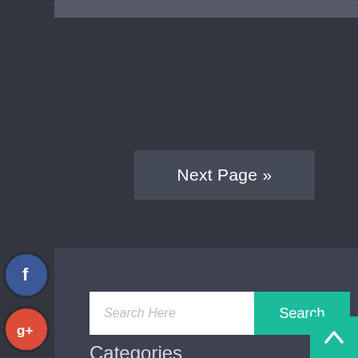[Figure (screenshot): Partial top bar element at the top of the page]
Next Page »
[Figure (screenshot): Facebook social icon circle (blue)]
[Figure (screenshot): Google+ social icon circle (red)]
[Figure (screenshot): Twitter social icon circle (blue)]
[Figure (screenshot): Plus/share social icon circle (dark with blue border)]
Search Here
Search
Categories